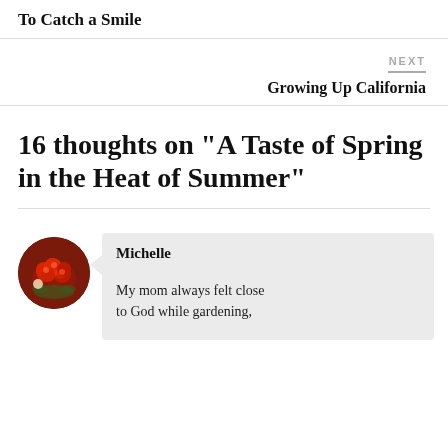To Catch a Smile
NEXT
Growing Up California
16 thoughts on “A Taste of Spring in the Heat of Summer”
Michelle
My mom always felt close to God while gardening,